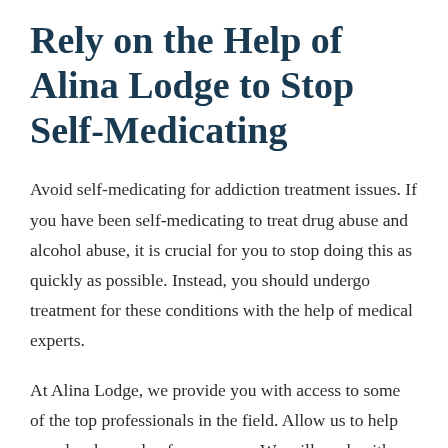Rely on the Help of Alina Lodge to Stop Self-Medicating
Avoid self-medicating for addiction treatment issues. If you have been self-medicating to treat drug abuse and alcohol abuse, it is crucial for you to stop doing this as quickly as possible. Instead, you should undergo treatment for these conditions with the help of medical experts.
At Alina Lodge, we provide you with access to some of the top professionals in the field. Allow us to help you develop a plan for recovery. We will work with you on an individual basis to figure out how best to meet your